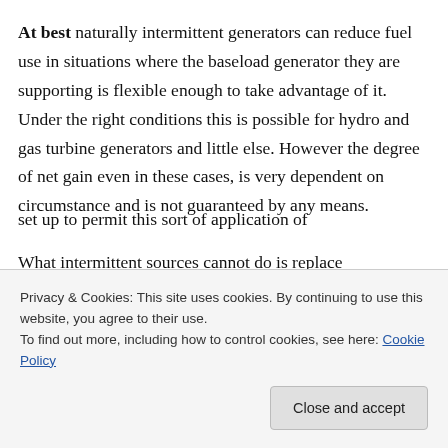At best naturally intermittent generators can reduce fuel use in situations where the baseload generator they are supporting is flexible enough to take advantage of it. Under the right conditions this is possible for hydro and gas turbine generators and little else. However the degree of net gain even in these cases, is very dependent on circumstance and is not guaranteed by any means.
What intermittent sources cannot do is replace
set up to permit this sort of application of
Privacy & Cookies: This site uses cookies. By continuing to use this website, you agree to their use.
To find out more, including how to control cookies, see here: Cookie Policy